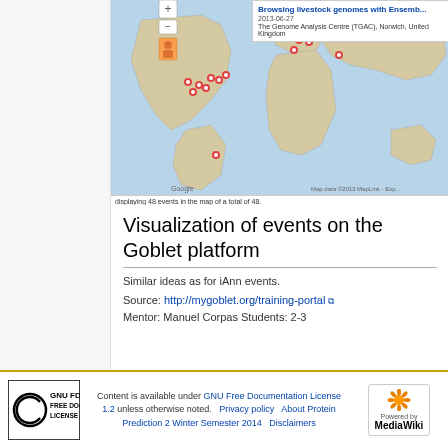[Figure (map): World map showing event locations on the Goblet platform, with red pin markers clustered in North America, Europe, and Middle East regions. A tooltip shows 'Browsing livestock genomes with Ensembl, 2013-06-27, The Genome Analysis Centre (TGAC), Norwich, United Kingdom'.]
displaying 48 events in the map of a total of 48.
Visualization of events on the Goblet platform
Similar ideas as for iAnn events.
Source: http://mygoblet.org/training-portal
Mentor: Manuel Corpas Students: 2-3
Content is available under GNU Free Documentation License 1.2 unless otherwise noted. Privacy policy | About Protein Prediction 2 Winter Semester 2014 | Disclaimers